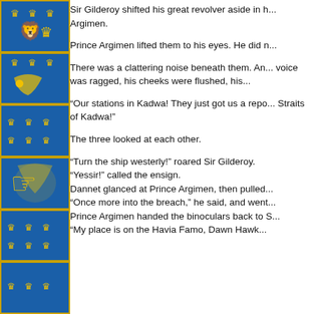[Figure (illustration): Decorative blue sidebar with repeating Swedish-style heraldic coat of arms panels: gold crowns and lions on blue background, bordered in gold.]
Sir Gilderoy shifted his great revolver aside in h... Argimen.
Prince Argimen lifted them to his eyes. He did n...
There was a clattering noise beneath them. An... voice was ragged, his cheeks were flushed, his...
“Our stations in Kadwa! They just got us a repo... Straits of Kadwa!”
The three looked at each other.
“Turn the ship westerly!” roared Sir Gilderoy.
“Yessir!” called the ensign.
Dannet glanced at Prince Argimen, then pulled...
“Once more into the breach,” he said, and went...
Prince Argimen handed the binoculars back to S...
“My place is on the Havia Famo, Dawn Hawk...